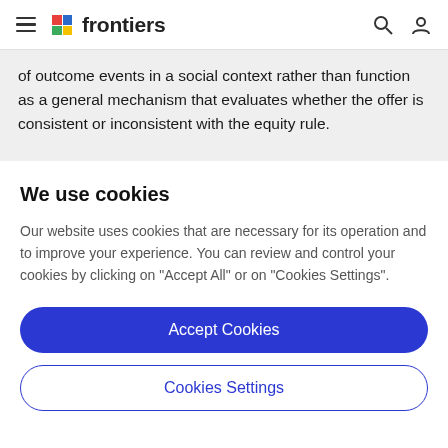frontiers
of outcome events in a social context rather than function as a general mechanism that evaluates whether the offer is consistent or inconsistent with the equity rule.
We use cookies
Our website uses cookies that are necessary for its operation and to improve your experience. You can review and control your cookies by clicking on "Accept All" or on "Cookies Settings".
Accept Cookies
Cookies Settings